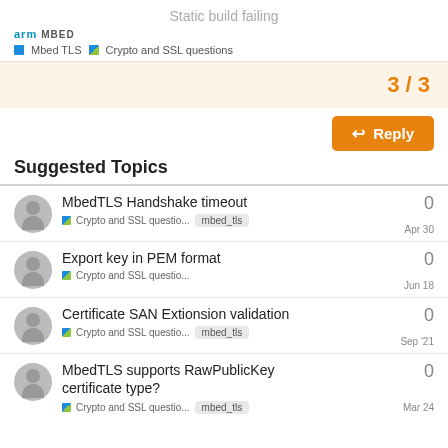Static build failing | arm MBED | Mbed TLS | Crypto and SSL questions
3 / 3
Reply
Suggested Topics
MbedTLS Handshake timeout | Crypto and SSL questio... | mbed_tls | 0 | Apr 30
Export key in PEM format | Crypto and SSL questio... | 0 | Jun 18
Certificate SAN Extionsion validation | Crypto and SSL questio... | mbed_tls | 0 | Sep '21
MbedTLS supports RawPublicKey certificate type? | Crypto and SSL questio... | mbed_tls | 0 | Mar 24